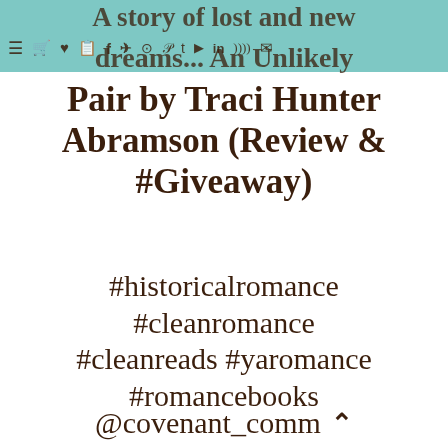A story of lost and new dreams... An Unlikely Pair by Traci Hunter Abramson (Review & #Giveaway)
dreams... An Unlikely Pair by Traci Hunter Abramson (Review & #Giveaway)
#historicalromance #cleanromance #cleanreads #yaromance #romancebooks @covenant_comm